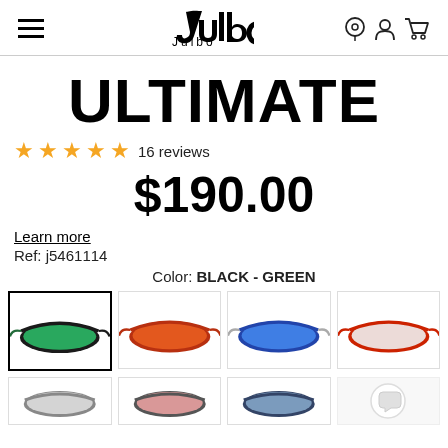Julbo header with hamburger menu, logo, and icons
ULTIMATE
★★★★★ 16 reviews
$190.00
Learn more
Ref: j5461114
Color: BLACK - GREEN
[Figure (photo): Grid of Julbo Ultimate sunglasses color variants: black-green (selected), red, blue, red-clear, and partial bottom row of clear/chrome, pink, blue, and chat bubble icon]